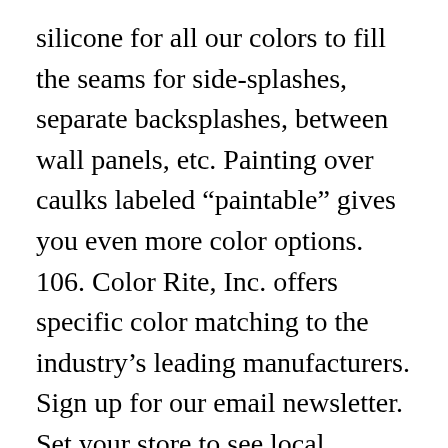silicone for all our colors to fill the seams for side-splashes, separate backsplashes, between wall panels, etc. Painting over caulks labeled “paintable” gives you even more color options. 106. Color Rite, Inc. offers specific color matching to the industry’s leading manufacturers. Sign up for our email newsletter. Set your store to see local … Clear Window and Door Silicone Sealant Caulk Model# 2708920 $ 6 57 $ 6 57. Never miss a deal. Sanded Ceramic Tile Item #41427. Polyblend 10.5 fl. GE Silicone 1 Tub and Tile is a 100% silicone and 100% waterproof sealant that is resistant to unhealthy and unsightly stain causing mold and mildew growth. 25. To name just a few: Formica, Wilsonart, Corian